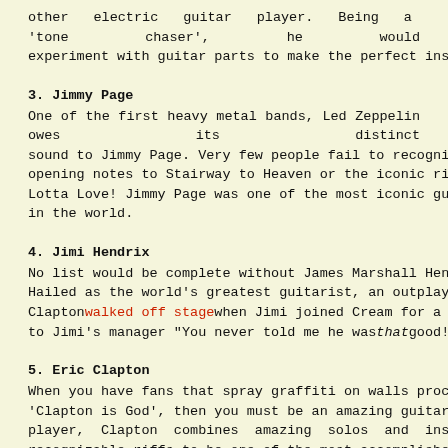other electric guitar player. Being a 'tone chaser', he would experiment with guitar parts to make the perfect instrument.
3. Jimmy Page
One of the first heavy metal bands, Led Zeppelin owes its distinct sound to Jimmy Page. Very few people fail to recognize the opening notes to Stairway to Heaven or the iconic riff to Whole Lotta Love! Jimmy Page was one of the most iconic guitar players in the world.
4. Jimi Hendrix
No list would be complete without James Marshall Hendrix. Hailed as the world's greatest guitarist, an outplayed Clapton walked off stage when Jimi joined Cream for a jam, saying to Jimi's manager "You never told me he was that good!"
5. Eric Clapton
When you have fans that spray graffiti on walls proclaiming 'Clapton is God', then you must be an amazing guitarist. A blues player, Clapton combines amazing solos and instantly recognizable riffs to be one of the most accomplished artists.